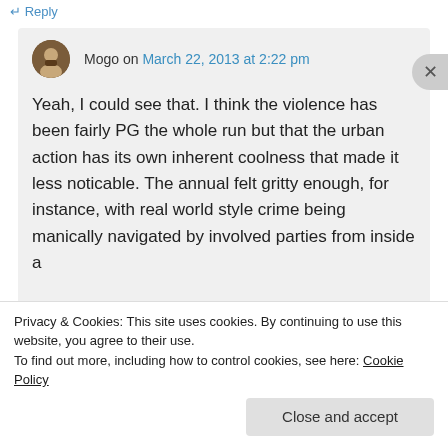↵ Reply
Mogo on March 22, 2013 at 2:22 pm
Yeah, I could see that. I think the violence has been fairly PG the whole run but that the urban action has its own inherent coolness that made it less noticable. The annual felt gritty enough, for instance, with real world style crime being manically navigated by involved parties from inside a
Privacy & Cookies: This site uses cookies. By continuing to use this website, you agree to their use.
To find out more, including how to control cookies, see here: Cookie Policy
Close and accept